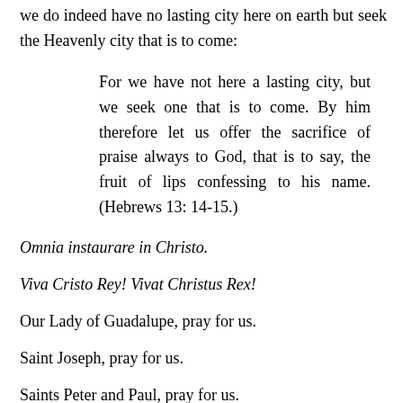we do indeed have no lasting city here on earth but seek the Heavenly city that is to come:
For we have not here a lasting city, but we seek one that is to come. By him therefore let us offer the sacrifice of praise always to God, that is to say, the fruit of lips confessing to his name. (Hebrews 13: 14-15.)
Omnia instaurare in Christo.
Viva Cristo Rey! Vivat Christus Rex!
Our Lady of Guadalupe, pray for us.
Saint Joseph, pray for us.
Saints Peter and Paul, pray for us.